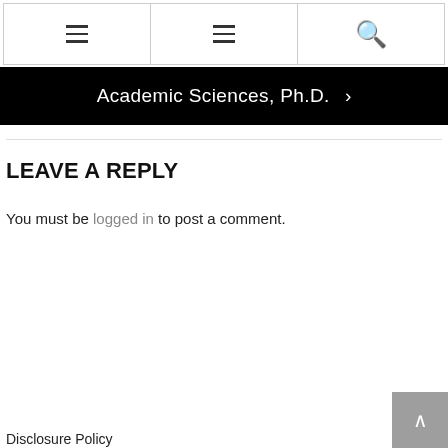hamburger menu | hamburger menu | search
Academic Sciences, Ph.D. >
LEAVE A REPLY
You must be logged in to post a comment.
Disclosure Policy